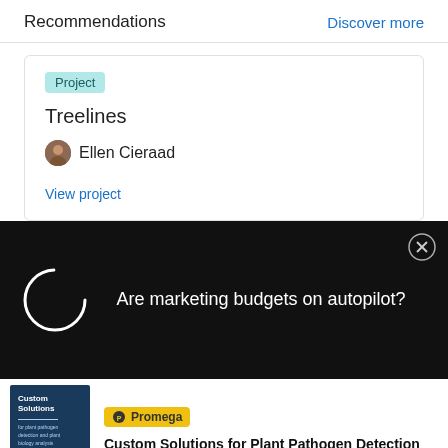Recommendations
Discover more
Project
Treelines
Ellen Cieraad
View project
[Figure (screenshot): Black overlay ad banner with loading spinner circle on left and text 'Are marketing budgets on autopilot?' on right, with close X button]
[Figure (screenshot): Bottom advertisement showing a book cover for 'Custom Solutions' on the left, Promega logo badge, and title 'Custom Solutions for Plant Pathogen Detection']
Custom Solutions for Plant Pathogen Detection